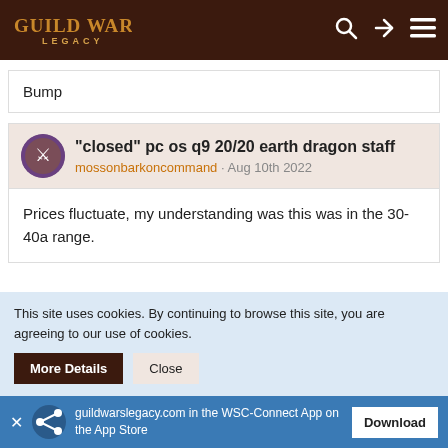Guild Wars Legacy
Bump
"closed" pc os q9 20/20 earth dragon staff
mossonbarkoncommand · Aug 10th 2022
Prices fluctuate, my understanding was this was in the 30-40a range.
This site uses cookies. By continuing to browse this site, you are agreeing to our use of cookies.
More Details   Close
guildwarslegacy.com in the WSC-Connect App on the App Store